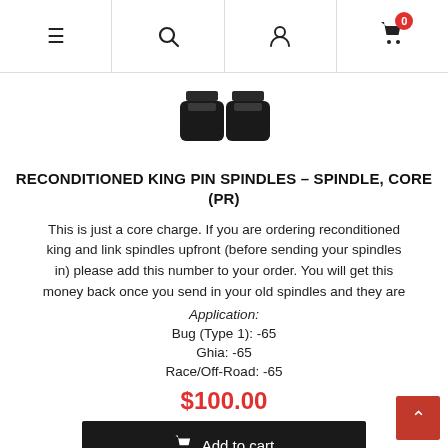Navigation bar with menu, search, account, and cart (0 items) icons
[Figure (photo): Two black king pin spindle parts shown from above against white background]
RECONDITIONED KING PIN SPINDLES – SPINDLE, CORE (PR)
This is just a core charge. If you are ordering reconditioned king and link spindles upfront (before sending your spindles in) please add this number to your order. You will get this money back once you send in your old spindles and they are
Application:
Bug (Type 1): -65
Ghia: -65
Race/Off-Road: -65
$100.00
Add to cart